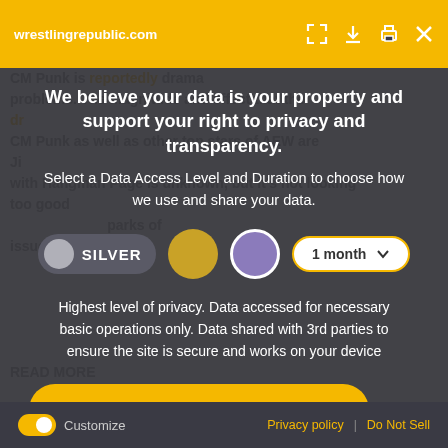BY ANNASTAZIA MANLEY — SEPTEMBER 2, 2022
[Figure (screenshot): Website toolbar with wrestlingrepublic.com and icons (fullscreen, download, print, close) on yellow background]
We believe your data is your property and support your right to privacy and transparency.
Select a Data Access Level and Duration to choose how we use and share your data.
[Figure (infographic): Privacy tier selector with Silver toggle pill, gold circle, purple circle, and 1 month dropdown]
Highest level of privacy. Data accessed for necessary basic operations only. Data shared with 3rd parties to ensure the site is secure and works on your device
Save my preferences
Customize | Privacy policy | Do Not Sell